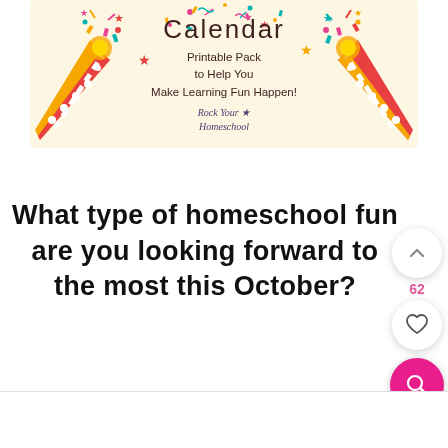[Figure (illustration): Colorful banner with party poppers/crackers on left and right sides, confetti, stars, with text 'Calendar Printable Pack to Help You Make Learning Fun Happen!' and 'Rock Your Homeschool' branding on a cream background.]
What type of homeschool fun are you looking forward to the most this October?